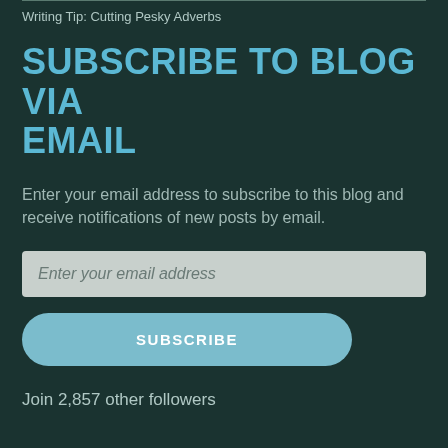Writing Tip: Cutting Pesky Adverbs
SUBSCRIBE TO BLOG VIA EMAIL
Enter your email address to subscribe to this blog and receive notifications of new posts by email.
Enter your email address
SUBSCRIBE
Join 2,857 other followers